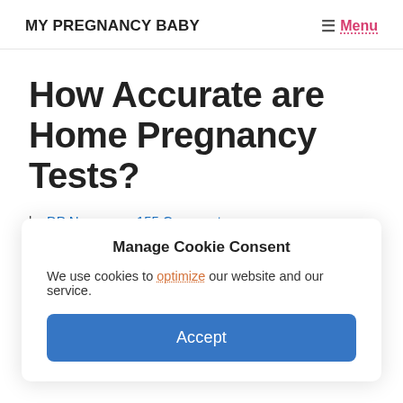MY PREGNANCY BABY
How Accurate are Home Pregnancy Tests?
by DP Nguyen — 155 Comments
Manage Cookie Consent
We use cookies to optimize our website and our service.
Accept